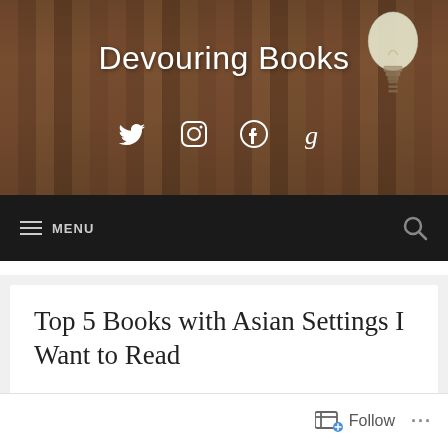Devouring Books
[Figure (screenshot): Website header with blurred bookshelf background, social media icons (Twitter, Instagram, Facebook, Goodreads), and lightbulb decoration]
MENU
Top 5 Books with Asian Settings I Want to Read